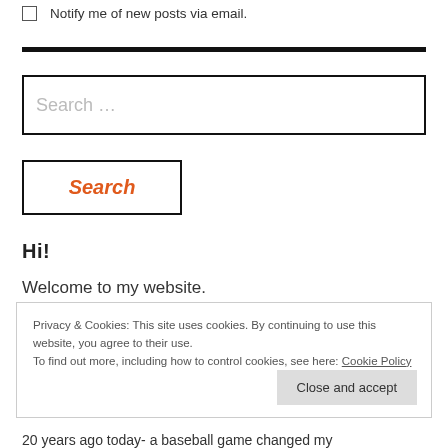Notify me of new posts via email.
Search …
Search
Hi!
Welcome to my website.
Privacy & Cookies: This site uses cookies. By continuing to use this website, you agree to their use.
To find out more, including how to control cookies, see here: Cookie Policy
Close and accept
20 years ago today- a baseball game changed my